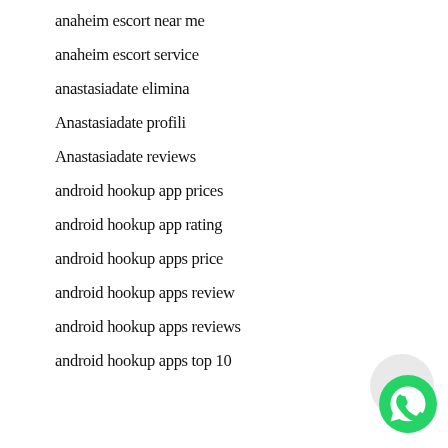anaheim escort near me
anaheim escort service
anastasiadate elimina
Anastasiadate profili
Anastasiadate reviews
android hookup app prices
android hookup app rating
android hookup apps price
android hookup apps review
android hookup apps reviews
android hookup apps top 10
[Figure (logo): WhatsApp contact button icon (green phone logo on circular background)]